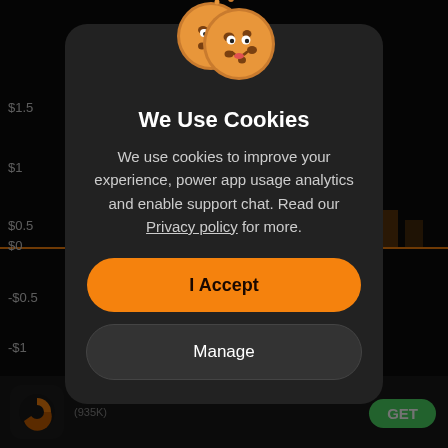[Figure (screenshot): Dark-themed financial chart background with y-axis labels: $1.5, $1, $0.5, $0, -$0.5, -$1 and an orange horizontal line near $0. Time label 15:00 visible at right.]
[Figure (illustration): Two cartoon cookie emojis with smiley faces at top of modal]
We Use Cookies
We use cookies to improve your experience, power app usage analytics and enable support chat. Read our Privacy policy for more.
I Accept
Manage
[Figure (logo): App icon with orange circular chart logo on dark background]
(935K)
GET